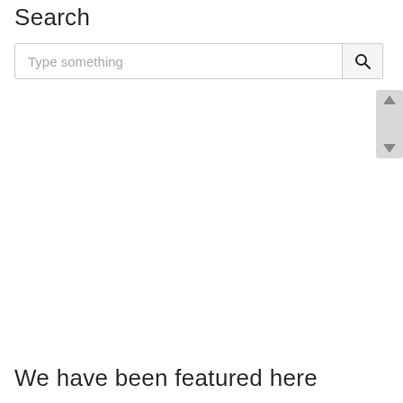Search
[Figure (screenshot): Search bar with placeholder text 'Type something' and a magnifying glass button on the right]
[Figure (other): Scrollbar widget with up and down arrow chevrons on the right side]
We have been featured here